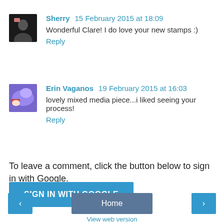Sherry  15 February 2015 at 18:09
Wonderful Clare! I do love your new stamps :)
Reply
Erin Vaganos  19 February 2015 at 16:03
lovely mixed media piece...i liked seeing your process!
Reply
To leave a comment, click the button below to sign in with Google.
SIGN IN WITH GOOGLE
Home
View web version